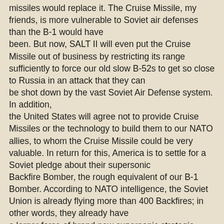missiles would replace it. The Cruise Missile, my friends, is more vulnerable to Soviet air defenses than the B-1 would have been. But now, SALT II will even put the Cruise Missile out of business by restricting its range sufficiently to force our old slow B-52s to get so close to Russia in an attack that they can be shot down by the vast Soviet Air Defense system. In addition, the United States will agree not to provide Cruise Missiles or the technology to build them to our NATO allies, to whom the Cruise Missile could be very valuable. In return for this, America is to settle for a Soviet pledge about their supersonic Backfire Bomber, the rough equivalent of our B-1 Bomber. According to NATO intelligence, the Soviet Union is already flying more than 400 Backfires; in other words, they already have a larger force of brand new supersonic strategic Backfires than our force of 20-year old subsonic tired out B-52s. And what's more, the newest version has even greater range than our B-52.